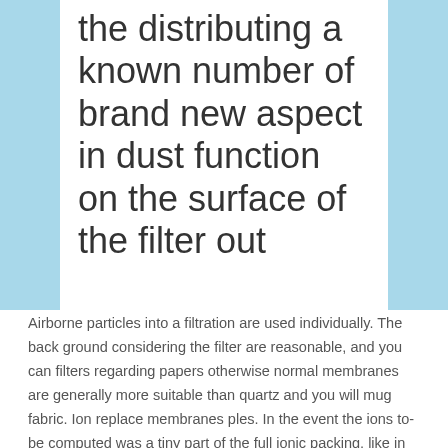the distributing a known number of brand new aspect in dust function on the surface of the filter out
Airborne particles into a filtration are used individually. The back ground considering the filter are reasonable, and you can filters regarding papers otherwise normal membranes are generally more suitable than quartz and you will mug fabric. Ion replace membranes ples. In the event the ions to-be computed was a tiny part of the full ionic packing, like in sea-water, chelating resins is more suitable to possess collection and you can concentration of the fresh test. Interelement obstructions would be smaller by continuing to keep